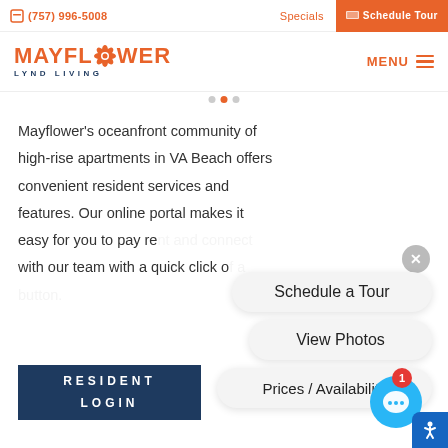(757) 996-5008  Specials  Schedule Tour
[Figure (logo): Mayflower Lynd Living logo with orange flower icon]
Mayflower's oceanfront community of high-rise apartments in VA Beach offers convenient resident services and features. Our online portal makes it easy for you to pay rent and connect with our team with a quick click of a button.
Schedule a Tour
View Photos
Prices / Availability
RESIDENT LOGIN